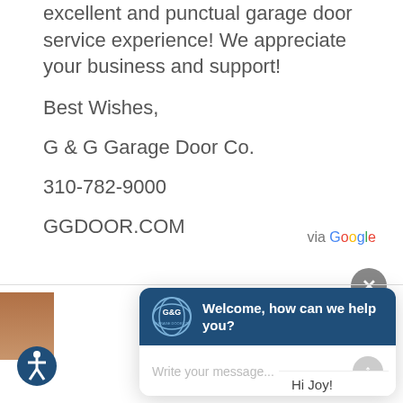excellent and punctual garage door service experience! We appreciate your business and support!
Best Wishes,
G & G Garage Door Co.
310-782-9000
GGDOOR.COM
via Google
[Figure (screenshot): Chat widget from G&G Garage Door Co. with header 'Welcome, how can we help you?' and a message input field]
Hi Joy!